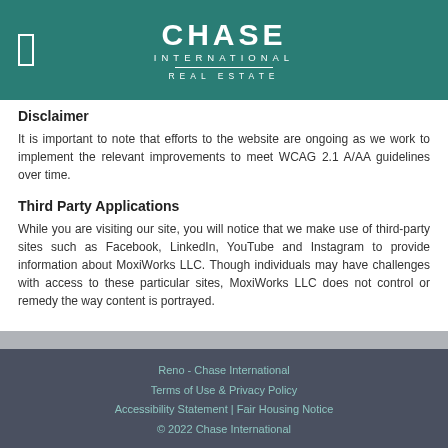CHASE INTERNATIONAL REAL ESTATE
Disclaimer
It is important to note that efforts to the website are ongoing as we work to implement the relevant improvements to meet WCAG 2.1 A/AA guidelines over time.
Third Party Applications
While you are visiting our site, you will notice that we make use of third-party sites such as Facebook, LinkedIn, YouTube and Instagram to provide information about MoxiWorks LLC. Though individuals may have challenges with access to these particular sites, MoxiWorks LLC does not control or remedy the way content is portrayed.
Reno - Chase International | Terms of Use & Privacy Policy | Accessibility Statement | Fair Housing Notice | © 2022 Chase International